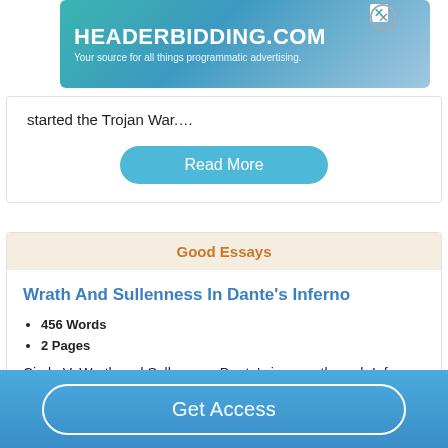[Figure (screenshot): Ad banner for HEADERBIDDING.COM with teal/blue gradient background. Text reads 'HEADERBIDDING.COM' and 'Your source for all things programmatic advertising.']
started the Trojan War....
Read More
Good Essays
Wrath And Sullenness In Dante's Inferno
456 Words
2 Pages
Circle V: Wrath and Sullenness Dante's journey through Inferno encountered sinners condemned to eternal
Get Access